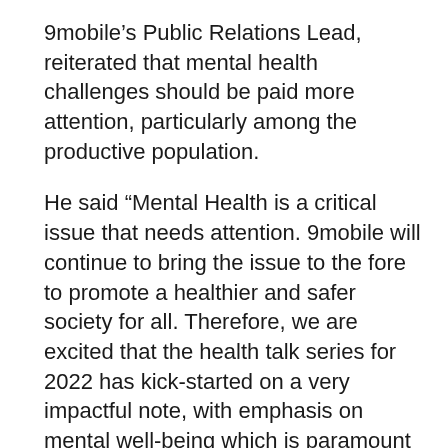9mobile's Public Relations Lead, reiterated that mental health challenges should be paid more attention, particularly among the productive population.
He said “Mental Health is a critical issue that needs attention. 9mobile will continue to bring the issue to the fore to promote a healthier and safer society for all. Therefore, we are excited that the health talk series for 2022 has kick-started on a very impactful note, with emphasis on mental well-being which is paramount for optimal productivity. This is one of the reasons why we focus on health as one of our strategic corporate social responsibility (CSR) pillars”.